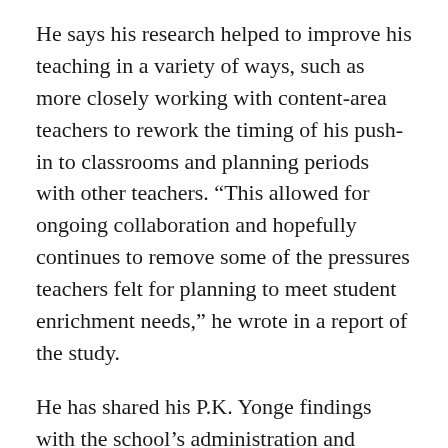He says his research helped to improve his teaching in a variety of ways, such as more closely working with content-area teachers to rework the timing of his push-in to classrooms and planning periods with other teachers. “This allowed for ongoing collaboration and hopefully continues to remove some of the pressures teachers felt for planning to meet student enrichment needs,” he wrote in a report of the study.
He has shared his P.K. Yonge findings with the school’s administration and teachers, including the school’s five other learning community leaders. The study informed their perennial challenge: How best to provide in-classroom lessons to gifted students without disrupting the